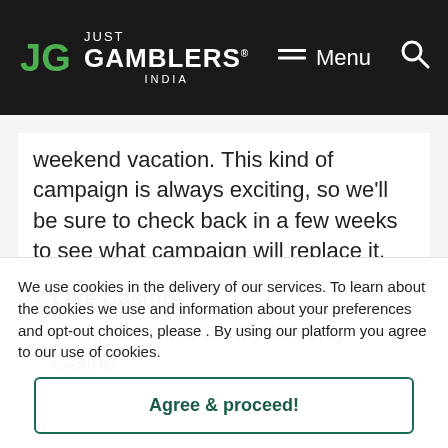Just Gamblers India — Menu (search)
weekend vacation. This kind of campaign is always exciting, so we'll be sure to check back in a few weeks to see what campaign will replace it.
Live Casino — Jackpot.com is hardly the only casino to offer live table games. That said, we...
We use cookies in the delivery of our services. To learn about the cookies we use and information about your preferences and opt-out choices, please . By using our platform you agree to our use of cookies.
Agree & proceed!